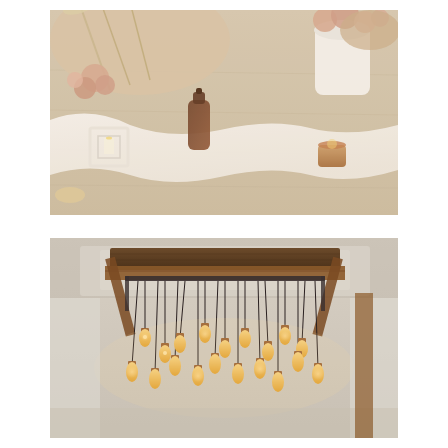[Figure (photo): A rustic wedding table setting with dried pampas grass, blush pink roses, white flowers in a white vase, an amber/brown glass bottle, a white geometric candle holder with a candle, a small amber glass votive candle, and a white linen draped across a light wood plank table.]
[Figure (photo): An interior venue photo showing a rustic chandelier made of dark wood beams and metal with many pendant Edison bulb lights hanging at various lengths from a white/cream textured ceiling with exposed wood beams.]